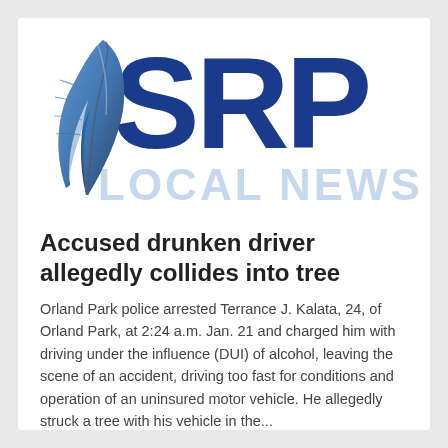[Figure (logo): SRP Local News logo with blue feather quill and large blue SRP letters, with 'LOCAL NEWS' text below in light blue]
Accused drunken driver allegedly collides into tree
Orland Park police arrested Terrance J. Kalata, 24, of Orland Park, at 2:24 a.m. Jan. 21 and charged him with driving under the influence (DUI) of alcohol, leaving the scene of an accident, driving too fast for conditions and operation of an uninsured motor vehicle. He allegedly struck a tree with his vehicle in the...